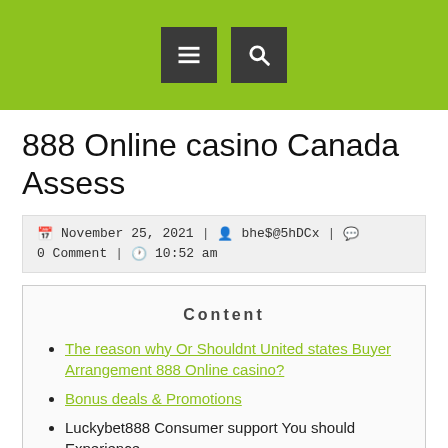[menu icon] [search icon]
888 Online casino Canada Assess
November 25, 2021 | bhe$@5hDCx | 0 Comment | 10:52 am
Content
The reason why Or Shouldnt United states Buyer Arrangement 888 Online casino?
Bonus deals & Promotions
Luckybet888 Consumer support You should Experience